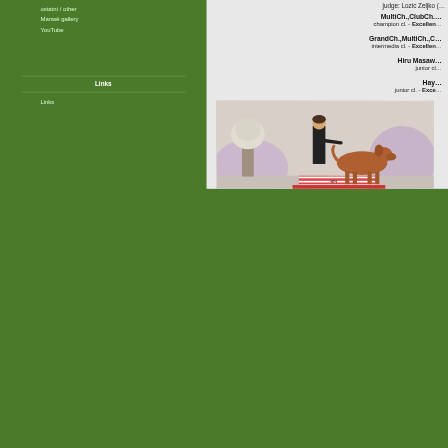ostatní / other
Manwë gallery
YouTube
Links
Links
judge: Lozic Zeljko (…
MultiCh.,ClubCh.… champion cl. - Excellen…
GrandCh.,MultiCh.,C… intermedia cl. - Excellen…
Hiru Masaw… junior cl…
Hay… junior cl. - Exce…
[Figure (photo): A woman in black clothing posing with a large tan/red dog (likely a Rhodesian Ridgeback or similar breed) standing on a platform in a show ring with a white brick wall and floral arrangement in the background.]